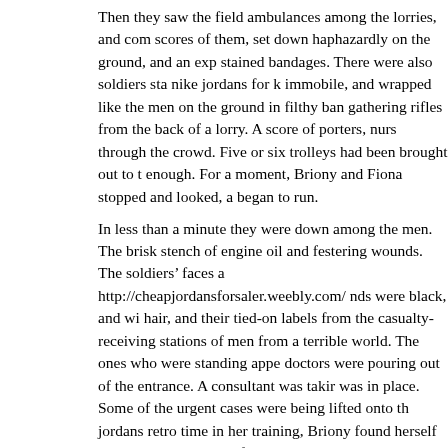Then they saw the field ambulances among the lorries, and com scores of them, set down haphazardly on the ground, and an exp stained bandages. There were also soldiers sta nike jordans for k immobile, and wrapped like the men on the ground in filthy ban gathering rifles from the back of a lorry. A score of porters, nurs through the crowd. Five or six trolleys had been brought out to t enough. For a moment, Briony and Fiona stopped and looked, a began to run.
In less than a minute they were down among the men. The brisk stench of engine oil and festering wounds. The soldiers' faces a http://cheapjordansforsaler.weebly.com/ nds were black, and wi hair, and their tied-on labels from the casualty-receiving stations of men from a terrible world. The ones who were standing appe doctors were pouring out of the entrance. A consultant was takir was in place. Some of the urgent cases were being lifted onto th jordans retro time in her training, Briony found herself addresse never seen before.
“You, get on the end of this stretcher.”
The doctor himself took the other end. She had never carried a